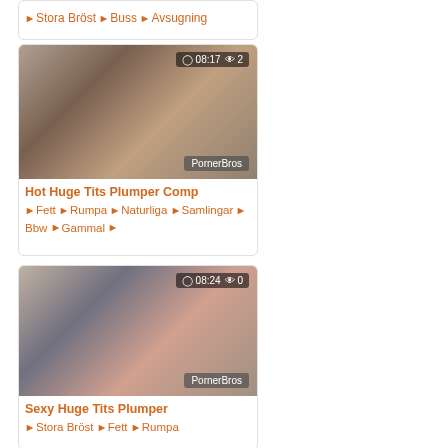Stora Bröst 🏷 Buss 🏷 Avsugning
[Figure (photo): Video thumbnail showing adult content with overlay showing 08:17 and 2 views, watermark PornerBros]
Hot Huge Tits Plumper Comp
🏷 Fett 🏷 Rumpa 🏷 Naturliga 🏷 Samlingar 🏷 Bbw 🏷 Gammal 🏷
[Figure (photo): Video thumbnail showing adult content with overlay showing 08:24 and 0 views, watermark PornerBros]
Sexy Huge Tits Plumper
🏷 Stora Bröst 🏷 Fett 🏷 Rumpa